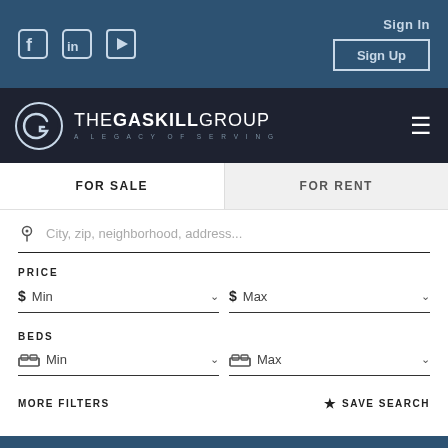Sign In | Sign Up | Social icons: Facebook, LinkedIn, YouTube
[Figure (logo): The Gaskill Group logo — circular G emblem with text THE GASKILL GROUP / A LEGACY OF SERVING]
FOR SALE | FOR RENT
City, zip, neighborhood, address...
PRICE
$ Min | $ Max
BEDS
Min | Max
MORE FILTERS
SAVE SEARCH